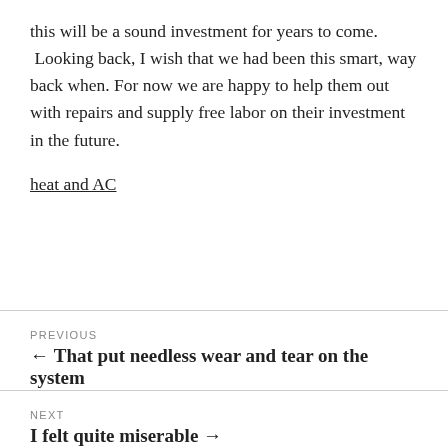this will be a sound investment for years to come. Looking back, I wish that we had been this smart, way back when. For now we are happy to help them out with repairs and supply free labor on their investment in the future.
heat and AC
PREVIOUS
← That put needless wear and tear on the system
NEXT
I felt quite miserable →